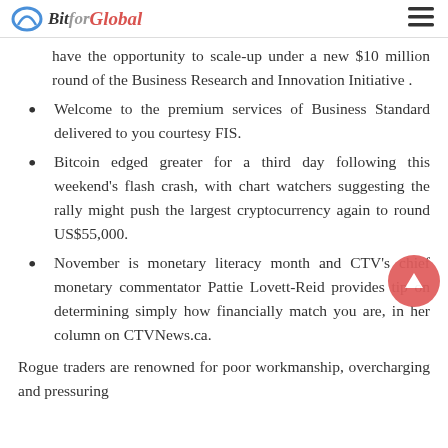BitforGlobal
have the opportunity to scale-up under a new $10 million round of the Business Research and Innovation Initiative .
Welcome to the premium services of Business Standard delivered to you courtesy FIS.
Bitcoin edged greater for a third day following this weekend's flash crash, with chart watchers suggesting the rally might push the largest cryptocurrency again to round US$55,000.
November is monetary literacy month and CTV's chief monetary commentator Pattie Lovett-Reid provides tip on determining simply how financially match you are, in her column on CTVNews.ca.
Rogue traders are renowned for poor workmanship, overcharging and pressuring